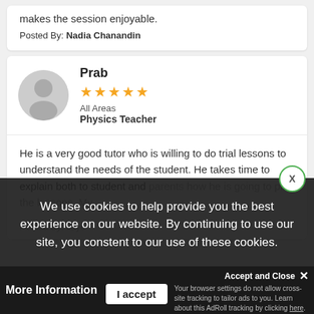makes the session enjoyable.
Posted By: Nadia Chanandin
[Figure (illustration): Circular grey avatar/silhouette of a person]
Prab
★★★★★
All Areas
Physics Teacher
He is a very good tutor who is willing to do trial lessons to understand the needs of the student. He takes time to explain both to student and parents how he is going to plan the lessons. My
Posted By: Jaye
We use cookies to help provide you the best experience on our website. By continuing to use our site, you constent to our use of these cookies.
More Information
I accept
Accept and Close ✕
Your browser settings do not allow cross-site tracking to tailor ads to you. Learn about this AdRoll tracking by clicking here. This message only appears once.